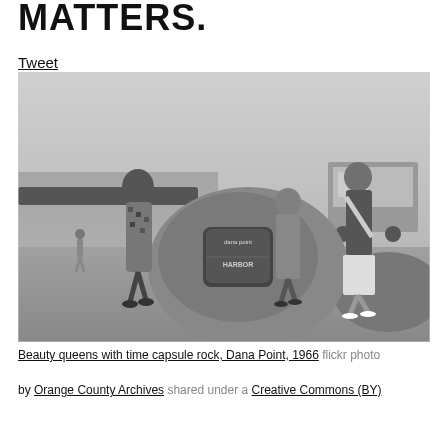MATTERS.
Tweet
[Figure (photo): Black and white photograph of three women (beauty queens) posing next to a large rock with a Dana Point Harbor plaque at a beach, Dana Point, 1966.]
Beauty queens with time capsule rock, Dana Point, 1966 flickr photo by Orange County Archives shared under a Creative Commons (BY)